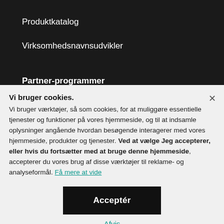Produktkatalog
Virksomhedsnavnsudvikler
Partner-programmer
Vi bruger cookies.
Vi bruger værktøjer, så som cookies, for at muliggøre essentielle tjenester og funktioner på vores hjemmeside, og til at indsamle oplysninger angående hvordan besøgende interagerer med vores hjemmeside, produkter og tjenester. Ved at vælge Jeg accepterer, eller hvis du fortsætter med at bruge denne hjemmeside, accepterer du vores brug af disse værktøjer til reklame- og analyseformål. Få mere at vide
Acceptér
Afvis
Administrer indstillinger